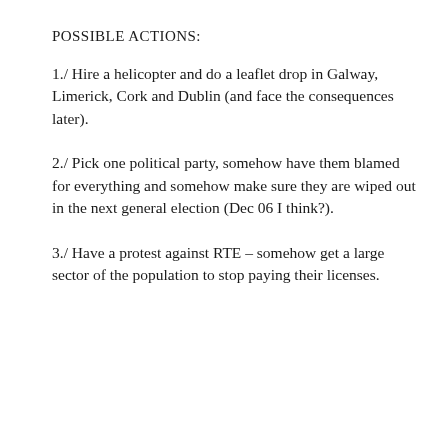POSSIBLE ACTIONS:
1./ Hire a helicopter and do a leaflet drop in Galway, Limerick, Cork and Dublin (and face the consequences later).
2./ Pick one political party, somehow have them blamed for everything and somehow make sure they are wiped out in the next general election (Dec 06 I think?).
3./ Have a protest against RTE – somehow get a large sector of the population to stop paying their licenses.